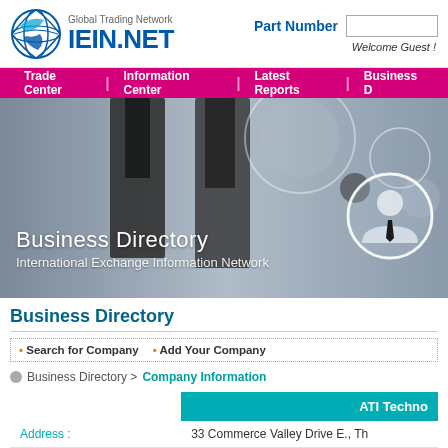[Figure (logo): IEIN.NET Global Trading Network logo with globe icon]
Part Number
Welcome Guest !
Trade Center | Information Center | Latest Reports | Business D
[Figure (photo): Hero banner with blurred business people silhouettes, person icon in circle, and text: Business Directory / International Exchange Information Network]
Business Directory
Search for Company   Add Your Company
Business Directory > Company Information
|  | ATI Techno |
| --- | --- |
| Address : | 33 Commerce Valley Drive E., Th |